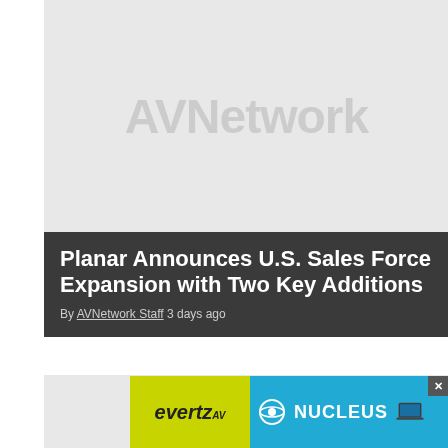[Figure (logo): AVNetwork logo placeholder image — light gray background with 'AVNetwork' text in large gray bold font]
Planar Announces U.S. Sales Force Expansion with Two Key Additions
By AVNetwork Staff 3 days ago
[Figure (photo): Second article image — light gray placeholder image with faint watermark text]
Rüfüs Du Sol Needed Powerful Coverage Throughout Arenas—d&b
[Figure (infographic): Advertisement banner: Evertz AV logo on yellow-green background on the left; Nucleus product ad with blue background on the right featuring laptop image]